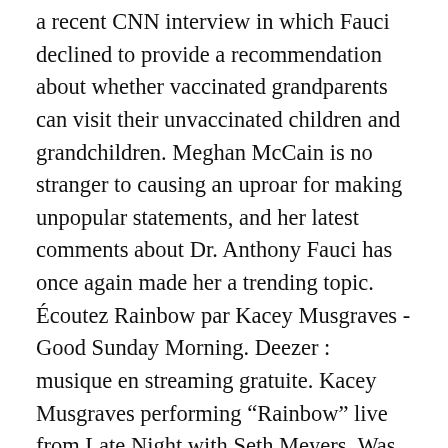a recent CNN interview in which Fauci declined to provide a recommendation about whether vaccinated grandparents can visit their unvaccinated children and grandchildren. Meghan McCain is no stranger to causing an uproar for making unpopular statements, and her latest comments about Dr. Anthony Fauci has once again made her a trending topic. Écoutez Rainbow par Kacey Musgraves - Good Sunday Morning. Deezer : musique en streaming gratuite. Kacey Musgraves performing “Rainbow” live from Late Night with Seth Meyers. Was this info helpful? PAROLES DE CHANSONS … Kacey Musgraves has dropped a music video for “Rainbow,” right as the Grammy awards telecast gets underway. The absence of a Marine sentry outside the West Wing on Monday raised questions about